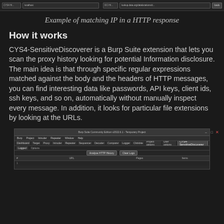[Figure (screenshot): Screenshot of a Burp Suite HTTP response showing IP matching, top portion of a browser/tool interface with address bars and navigation elements.]
Example of matching IP in a HTTP response
How it works
CYS4-SensitiveDiscoverer is a Burp Suite extension that lets you scan the proxy history looking for potential Information disclosure. The main idea is that through specific regular expressions matched against the body and the headers of HTTP messages, you can find interesting data like passwords, API keys, client ids, ssh keys, and so on, automatically without manually inspect every message. In addition, it looks for particular file extensions by looking at the URLs.
[Figure (screenshot): Screenshot of Burp Suite Community Edition showing the CYS4-SensitiveDiscoverer extension tab with Analyse HTTP History and Clear Logs buttons, and a table with # URL Pages Items columns.]